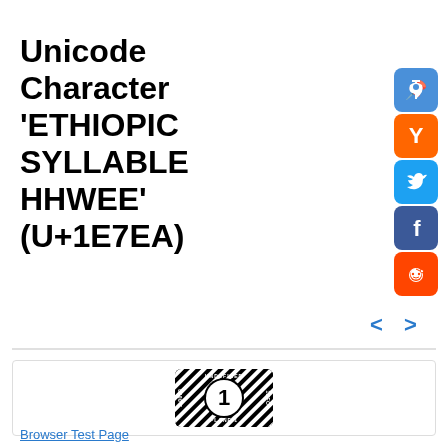Unicode Character 'ETHIOPIC SYLLABLE HHWEE' (U+1E7EA)
[Figure (illustration): Social sharing icons: Pinterest (blue), Hacker News Y (orange), Twitter (blue), Facebook (dark blue), Reddit (red-orange)]
[Figure (illustration): Unicode character badge showing '1' with 'UNDEFINED ITFO PLANE 1' text in black and white diagonal stripe pattern]
Browser Test Page